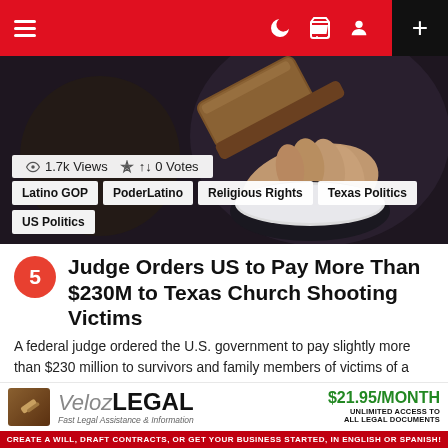Navigation bar with hamburger menu, icons, and + button
[Figure (photo): Photo of a judge's gavel being held, dark courtroom background]
1.7k Views  0 Votes
Latino GOP  PoderLatino  Religious Rights  Texas Politics  US Politics
Judge Orders US to Pay More Than $230M to Texas Church Shooting Victims
A federal judge ordered the U.S. government to pay slightly more than $230 million to survivors and family members of victims of a 2017 mass shooting at a Texas church that killed 26 people. U.S. District Judge Xavier Rodriguez ruled seven months after finding the government 60% responsible for the Nov. 5, 2017, massacre [...] MORE
[Figure (logo): VelozLEGAL advertisement banner - Fast Legal Assistance & Information. $21.95/MONTH UNLIMITED ACCESS TO ALL LEGAL DOCUMENTS. CREATE A WILL, DRAFT CONTRACTS, OR GET YOUR BUSINESS STARTED, IN ENGLISH OR SPANISH!]